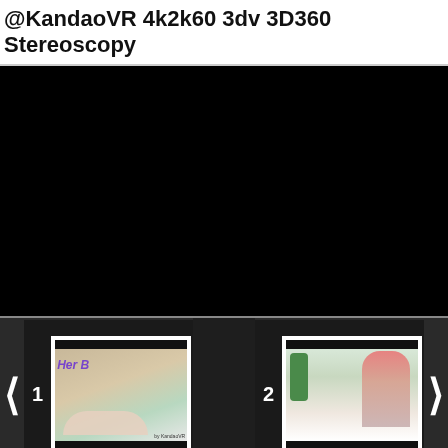@KandaoVR 4k2k60 3dv 3D360 Stereoscopy
[Figure (screenshot): Black video player area, main viewing screen showing black/empty content]
[Figure (screenshot): Thumbnail strip with navigation arrows and two video thumbnails labeled 1 and 2. Thumbnail 1 shows a scene with text 'Her B' in purple italic, a person lying down. Thumbnail 2 shows a person in floral clothing with a plant in the background.]